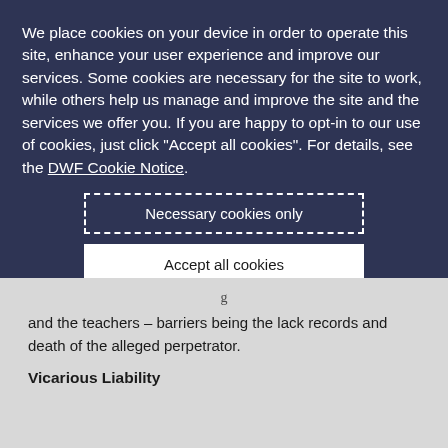We place cookies on your device in order to operate this site, enhance your user experience and improve our services. Some cookies are necessary for the site to work, while others help us manage and improve the site and the services we offer you. If you are happy to opt-in to our use of cookies, just click "Accept all cookies". For details, see the DWF Cookie Notice.
Necessary cookies only
Accept all cookies
+ Review our use of cookies and set your preferences
and the teachers – barriers being the lack records and death of the alleged perpetrator.
Vicarious Liability